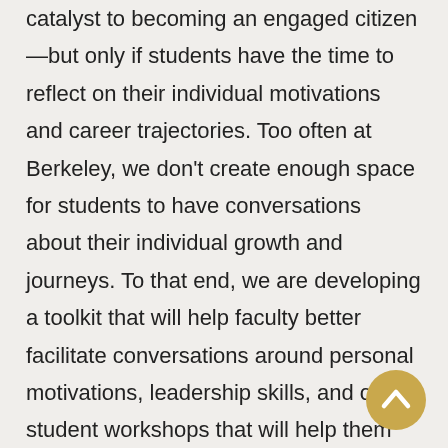choices. Attending Berkeley is a widely viewed as a catalyst to becoming an engaged citizen—but only if students have the time to reflect on their individual motivations and career trajectories. Too often at Berkeley, we don't create enough space for students to have conversations about their individual growth and journeys. To that end, we are developing a toolkit that will help faculty better facilitate conversations around personal motivations, leadership skills, and offer student workshops that will help them design (and re-design!) lives that are purposeful and fulfilling.
[Figure (other): Gold circular back-to-top button with upward chevron arrow icon, positioned in the bottom-right corner]